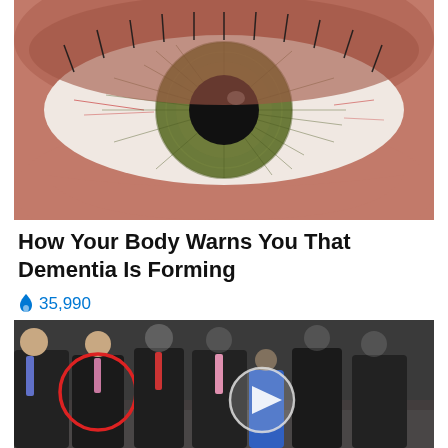[Figure (photo): Extreme close-up macro photograph of a human eye with hazel/green iris and dilated pupil, showing detailed skin texture, eyelashes and red veining]
How Your Body Warns You That Dementia Is Forming
🔥 35,990
[Figure (photo): Group photo of several people in formal dark suits standing together, one person on the left circled in red, center has a play button overlay indicating a video thumbnail]